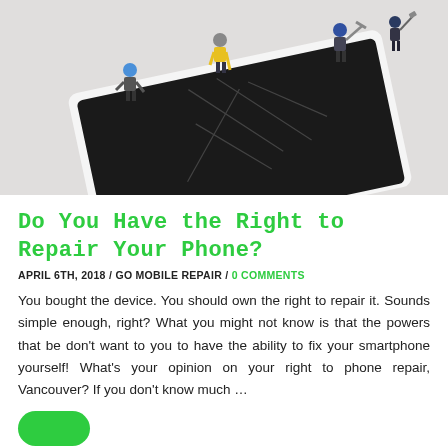[Figure (photo): Miniature construction worker figurines working on a cracked smartphone screen, against a white background.]
Do You Have the Right to Repair Your Phone?
APRIL 6TH, 2018 / GO MOBILE REPAIR / 0 COMMENTS
You bought the device. You should own the right to repair it. Sounds simple enough, right? What you might not know is that the powers that be don't want to you to have the ability to fix your smartphone yourself! What's your opinion on your right to phone repair, Vancouver? If you don't know much …